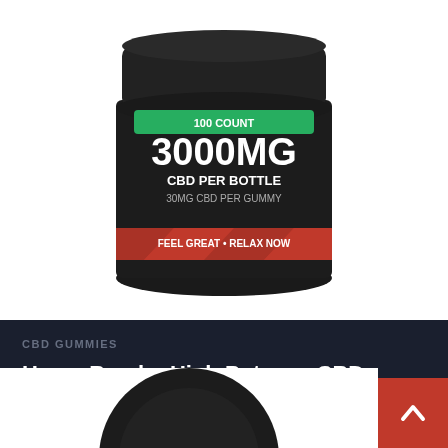[Figure (photo): Black cylindrical jar of Hemp Bombs High Potency CBD Gummies with green label showing 100 COUNT, 3000MG CBD PER BOTTLE, 30MG CBD PER GUMMY, FEEL GREAT + RELAX NOW, with red accent band]
CBD GUMMIES
Hemp Bombs High Potency CBD Gummies 100
$154.99
BUY NOW
[Figure (photo): Partial top view of another black cylindrical jar product]